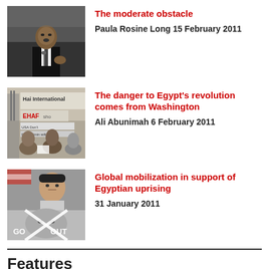[Figure (photo): Black and white photo of Martin Luther King Jr. speaking at a podium]
The moderate obstacle
Paula Rosine Long 15 February 2011
[Figure (photo): Protest scene with EHAF sign and people holding banners reading USA Don't Involve]
The danger to Egypt's revolution comes from Washington
Ali Abunimah 6 February 2011
[Figure (photo): Protest photo showing a young man and a crossed-out image of a figure with text GO OUT]
Global mobilization in support of Egyptian uprising
31 January 2011
Features